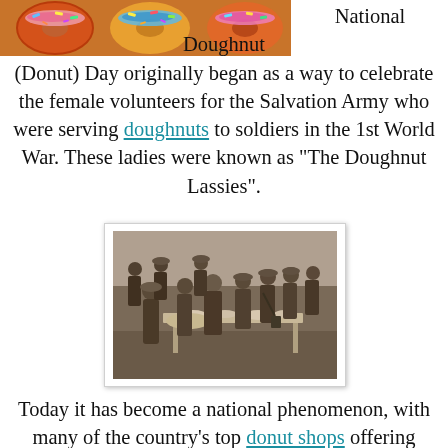[Figure (photo): Top portion of a photo of colorful glazed donuts]
National Doughnut (Donut) Day originally began as a way to celebrate the female volunteers for the Salvation Army who were serving doughnuts to soldiers in the 1st World War. These ladies were known as "The Doughnut Lassies".
[Figure (photo): Historical black and white photograph of Salvation Army women (Doughnut Lassies) serving doughnuts to soldiers in World War I, with a group of soldiers and women gathered around a table outdoors]
Today it has become a national phenomenon, with many of the country's top donut shops offering special deals (or free donuts) to commemorate the holiday!